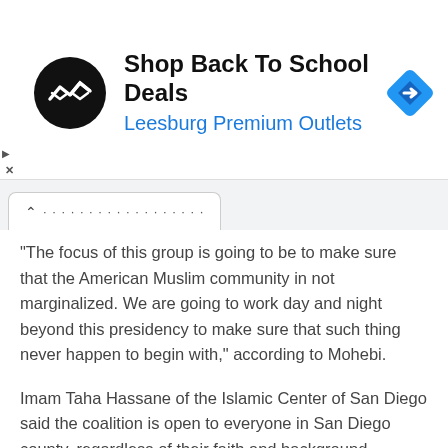[Figure (screenshot): Advertisement banner for 'Shop Back To School Deals' at Leesburg Premium Outlets, featuring a black circular logo with white arrows, the outlet's blue text name, and a blue diamond navigation icon on the right.]
"The focus of this group is going to be to make sure that the American Muslim community in not marginalized. We are going to work day and night beyond this presidency to make sure that such thing never happen to begin with," according to Mohebi.
Imam Taha Hassane of the Islamic Center of San Diego said the coalition is open to everyone in San Diego county, regardless of their faith and background.